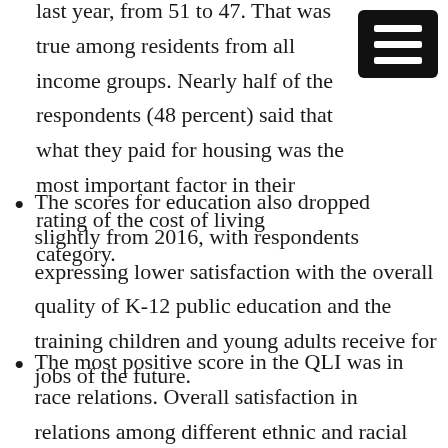last year, from 51 to 47. That was true among residents from all income groups. Nearly half of the respondents (48 percent) said that what they paid for housing was the most important factor in their rating of the cost of living category.
The scores for education also dropped slightly from 2016, with respondents expressing lower satisfaction with the overall quality of K-12 public education and the training children and young adults receive for jobs of the future.
The most positive score in the QLI was in race relations. Overall satisfaction in relations among different ethnic and racial groups rose to 79, compared to 76 last year.